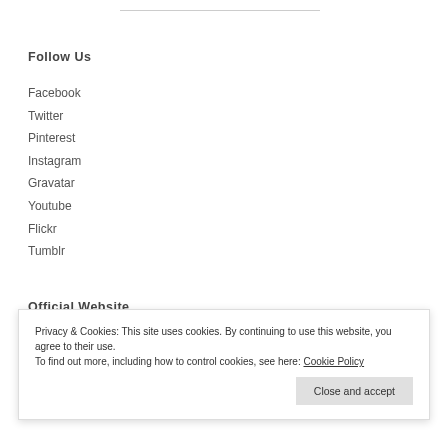Follow Us
Facebook
Twitter
Pinterest
Instagram
Gravatar
Youtube
Flickr
Tumblr
Official Website
Privacy & Cookies: This site uses cookies. By continuing to use this website, you agree to their use.
To find out more, including how to control cookies, see here: Cookie Policy
Close and accept